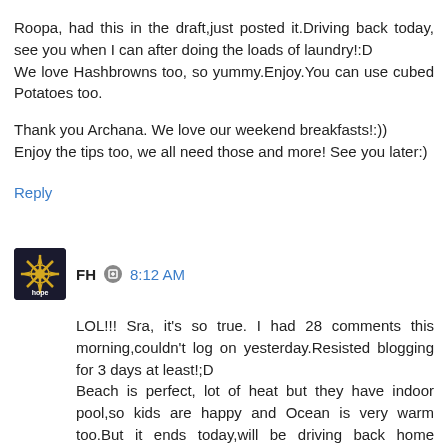Roopa, had this in the draft,just posted it.Driving back today, see you when I can after doing the loads of laundry!:D
We love Hashbrowns too, so yummy.Enjoy.You can use cubed Potatoes too.
Thank you Archana. We love our weekend breakfasts!:))
Enjoy the tips too, we all need those and more! See you later:)
Reply
FH  8:12 AM
LOL!!! Sra, it's so true. I had 28 comments this morning,couldn't log on yesterday.Resisted blogging for 3 days at least!;D
Beach is perfect, lot of heat but they have indoor pool,so kids are happy and Ocean is very warm too.But it ends today,will be driving back home shortly,thought I would moderate now, might not be able to log in again today.